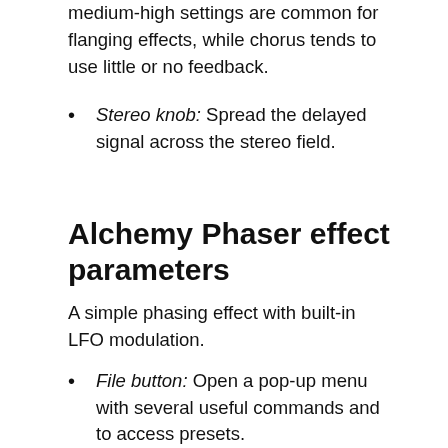medium-high settings are common for flanging effects, while chorus tends to use little or no feedback.
Stereo knob: Spread the delayed signal across the stereo field.
Alchemy Phaser effect parameters
A simple phasing effect with built-in LFO modulation.
File button: Open a pop-up menu with several useful commands and to access presets.
Presets: Choose a preset from the submenu.
Save: Open a dialog where you can name and save the current settings to a new preset. The